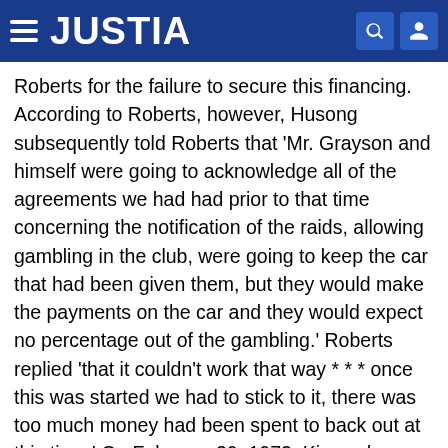JUSTIA
Roberts for the failure to secure this financing. According to Roberts, however, Husong subsequently told Roberts that 'Mr. Grayson and himself were going to acknowledge all of the agreements we had had prior to that time concerning the notification of the raids, allowing gambling in the club, were going to keep the car that had been given them, but they would make the payments on the car and they would expect no percentage out of the gambling.' Roberts replied 'that it couldn't work that way * * * once this was started we had to stick to it, there was too much money had been spent to back out at this time.' On February 29, 1972, King, who was in Denver with Bishop and Roberts to secure a bingo machine for Mr. Yuk, learned in a telephone conversation with his wife at Grove that Internal Revenue men were in Grove. It was agreed they 'would let things lay quiet for a while until this simmered